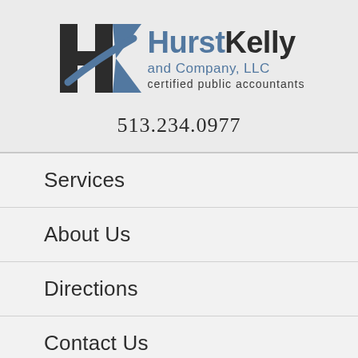[Figure (logo): HurstKelly and Company, LLC certified public accountants logo with HK monogram icon]
513.234.0977
Services
About Us
Directions
Contact Us